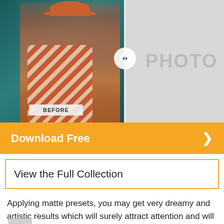[Figure (photo): Before/after comparison of a photo filter applied to a woman in a striped swimsuit and orange hat against a teal background. Left side shows the original colored photo labeled BEFORE, right side shows a desaturated/matte version with the word PHOTO. A white circle with arrows marks the dividing line.]
Download Free
View the Full Collection
Applying matte presets, you may get very dreamy and artistic results which will surely attract attention and will look appealing. This filter plays with shadows